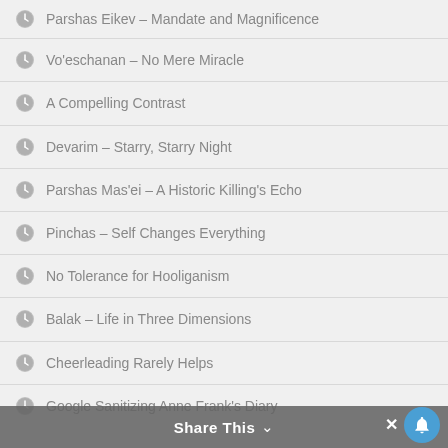Parshas Eikev – Mandate and Magnificence
Vo'eschanan – No Mere Miracle
A Compelling Contrast
Devarim – Starry, Starry Night
Parshas Mas'ei – A Historic Killing's Echo
Pinchas – Self Changes Everything
No Tolerance for Hooliganism
Balak – Life in Three Dimensions
Cheerleading Rarely Helps
Google Sanitizing Anne Frank's Diary
Share This